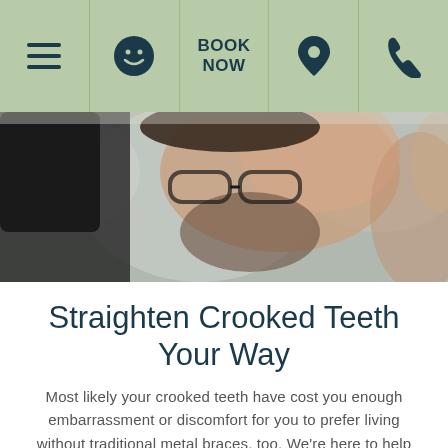Navigation bar with menu, smile, BOOK NOW, location, and phone icons
[Figure (photo): Close-up photo of a man with beard examining or looking closely at something, bokeh background]
Straighten Crooked Teeth Your Way
Most likely your crooked teeth have cost you enough embarrassment or discomfort for you to prefer living without traditional metal braces, too. We're here to help improve your health and confidence with esthetic orthodontics and offer you the